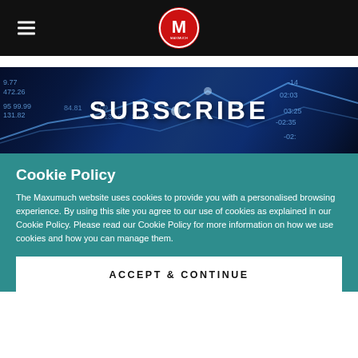Maximuch header with hamburger menu and logo
[Figure (screenshot): Financial stock market data banner with numbers and chart lines, with SUBSCRIBE text overlay]
Cookie Policy
The Maxumuch website uses cookies to provide you with a personalised browsing experience. By using this site you agree to our use of cookies as explained in our Cookie Policy. Please read our Cookie Policy for more information on how we use cookies and how you can manage them.
ACCEPT & CONTINUE